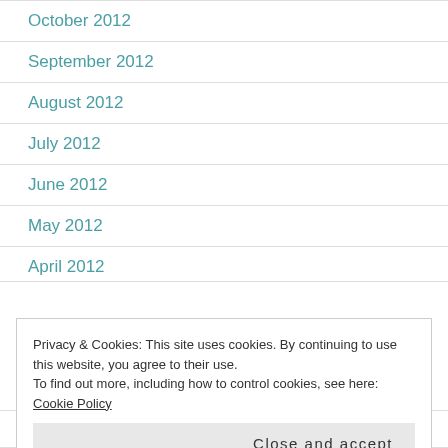October 2012
September 2012
August 2012
July 2012
June 2012
May 2012
April 2012
Privacy & Cookies: This site uses cookies. By continuing to use this website, you agree to their use.
To find out more, including how to control cookies, see here: Cookie Policy
Close and accept
January 2012